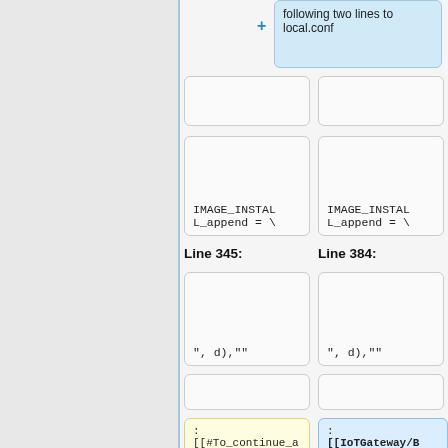following two lines to local.conf
[Figure (screenshot): Diff view showing code comparison with two columns. Left column shows Line 345 with IMAGE_INSTALL_append = \ and ", d),"" boxes. Right column shows Line 384 with IMAGE_INSTALL_append = \ and ", d),"" boxes. Bottom shows wiki link boxes: left has [[#To_continue_an_exist_build_environment|Continue an exist build environment]] and, right has [[IoTGateway/BSP/Linux/iMX8/Yocto_LBV9_User_Guide#To_continue_an_exist_build_environme]
Line 345: / Line 384: